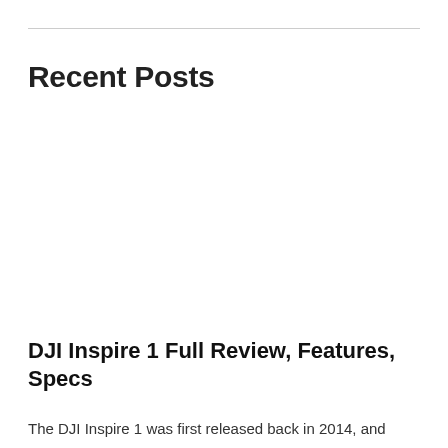Recent Posts
DJI Inspire 1 Full Review, Features, Specs
The DJI Inspire 1 was first released back in 2014, and